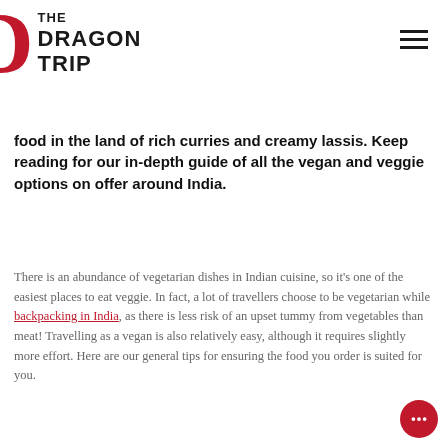THE DRAGON TRIP
food in the land of rich curries and creamy lassis. Keep reading for our in-depth guide of all the vegan and veggie options on offer around India.
There is an abundance of vegetarian dishes in Indian cuisine, so it's one of the easiest places to eat veggie. In fact, a lot of travellers choose to be vegetarian while backpacking in India, as there is less risk of an upset tummy from vegetables than meat! Travelling as a vegan is also relatively easy, although it requires slightly more effort. Here are our general tips for ensuring the food you order is suited for you.
General tips:
• Vegans and veggies all over the world are probably used to this, but always ask your server the ingredients of a dish before you order if you are unsure